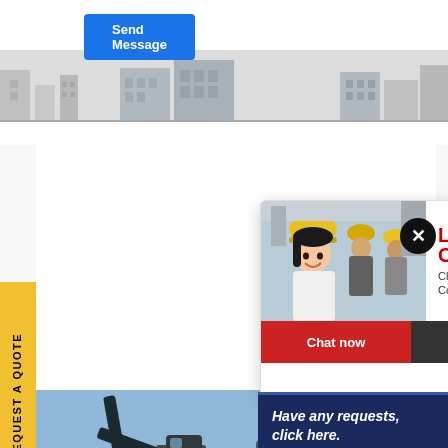[Figure (screenshot): Send Message button (blue)]
[Figure (illustration): Gray banner with building silhouettes]
[Figure (screenshot): REQUEST A QUOTE side tab in yellow]
[Figure (screenshot): Live Chat popup with construction workers photo, LIVE CHAT heading, Chat now and Chat later buttons]
[Figure (photo): Headset customer service representative photo]
[Figure (photo): Heavy machinery at construction site]
[Figure (screenshot): Have any requests click here Quotation box]